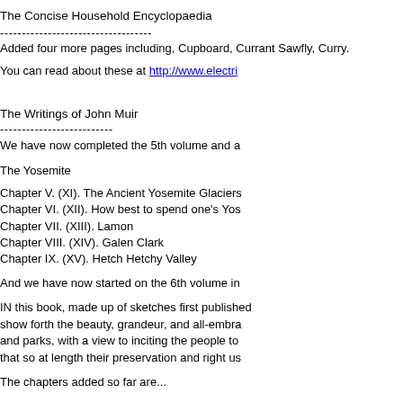The Concise Household Encyclopaedia
-----------------------------------
Added four more pages including, Cupboard, Currant Sawfly, Curry.
You can read about these at http://www.electri...
The Writings of John Muir
--------------------------
We have now completed the 5th volume and a...
The Yosemite
Chapter V. (XI). The Ancient Yosemite Glaciers...
Chapter VI. (XII). How best to spend one's Yos...
Chapter VII. (XIII). Lamon
Chapter VIII. (XIV). Galen Clark
Chapter IX. (XV). Hetch Hetchy Valley
And we have now started on the 6th volume in...
IN this book, made up of sketches first published... show forth the beauty, grandeur, and all-embra... and parks, with a view to inciting the people to... that so at length their preservation and right us...
The chapters added so far are...